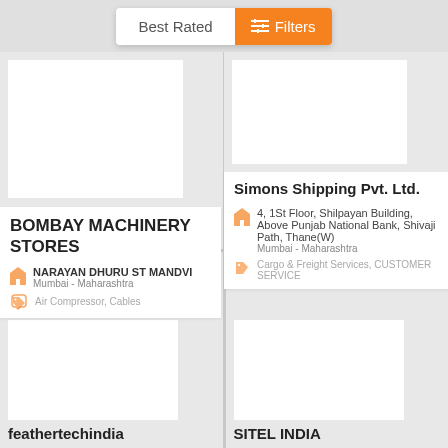Best Rated
Filters
BOMBAY MACHINERY STORES
NARAYAN DHURU ST MANDVI
Mumbai - Maharashtra
Air Compressor, Cables
Simons Shipping Pvt. Ltd.
4, 1St Floor, Shilpayan Building, Above Punjab National Bank, Shivaji Path, Thane(W)
Mumbai - Maharashtra
Cargo & Freight Services, CUSTOMER SERVICE
feathertechindia
SITEL INDIA